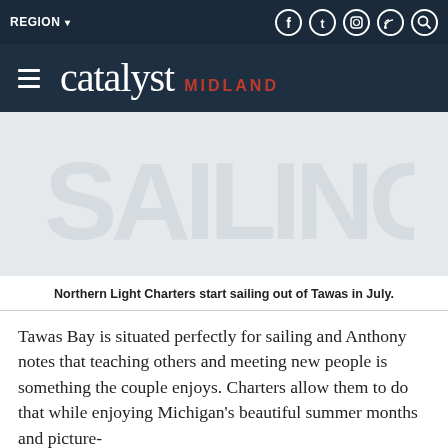REGION ▾
[Figure (logo): Catalyst Midland logo — hamburger menu icon, 'catalyst' in white serif font, 'MIDLAND' in red uppercase bold sans-serif]
[Figure (photo): Faded/loading placeholder image for Northern Light Charters sailing photo]
Northern Light Charters start sailing out of Tawas in July.
Tawas Bay is situated perfectly for sailing and Anthony notes that teaching others and meeting new people is something the couple enjoys. Charters allow them to do that while enjoying Michigan's beautiful summer months and picture-